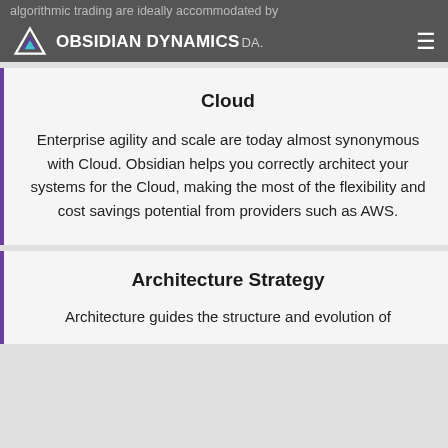algorithmic trading are ideally accommodated by OBSIDIAN DYNAMICS DA.
Cloud
Enterprise agility and scale are today almost synonymous with Cloud. Obsidian helps you correctly architect your systems for the Cloud, making the most of the flexibility and cost savings potential from providers such as AWS.
Architecture Strategy
Architecture guides the structure and evolution of